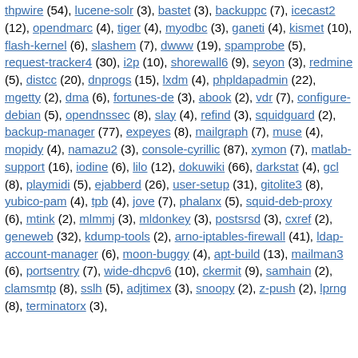thpwire (54), lucene-solr (3), bastet (3), backuppc (7), icecast2 (12), opendmarc (4), tiger (4), myodbc (3), ganeti (4), kismet (10), flash-kernel (6), slashem (7), dwww (19), spamprobe (5), request-tracker4 (30), i2p (10), shorewall6 (9), seyon (3), redmine (5), distcc (20), dnprogs (15), lxdm (4), phpldapadmin (22), mgetty (2), dma (6), fortunes-de (3), abook (2), vdr (7), configure-debian (5), opendnssec (8), slay (4), refind (3), squidguard (2), backup-manager (77), expeyes (8), mailgraph (7), muse (4), mopidy (4), namazu2 (3), console-cyrillic (87), xymon (7), matlab-support (16), iodine (6), lilo (12), dokuwiki (66), darkstat (4), gcl (8), playmidi (5), ejabberd (26), user-setup (31), gitolite3 (8), yubico-pam (4), tpb (4), jove (7), phalanx (5), squid-deb-proxy (6), mtink (2), mlmmj (3), mldonkey (3), postsrsd (3), cxref (2), geneweb (32), kdump-tools (2), arno-iptables-firewall (41), ldap-account-manager (6), moon-buggy (4), apt-build (13), mailman3 (6), portsentry (7), wide-dhcpv6 (10), ckermit (9), samhain (2), clamsmtp (8), sslh (5), adjtimex (3), snoopy (2), z-push (2), lprng (8), terminatorx (3),